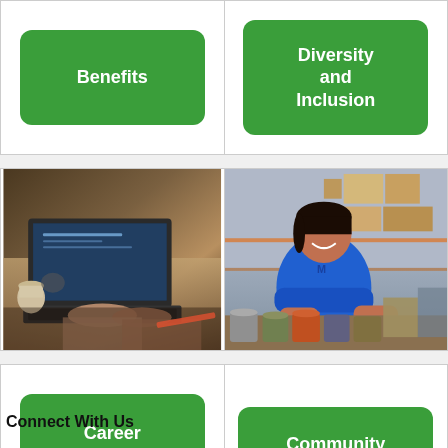[Figure (illustration): Green rounded button labeled Benefits]
[Figure (illustration): Green rounded button labeled Diversity and Inclusion]
[Figure (photo): Person typing on a laptop at a desk with coffee cup]
[Figure (photo): Woman in blue shirt sorting canned goods in a warehouse]
[Figure (illustration): Green rounded button labeled Career Development]
[Figure (illustration): Green rounded button labeled Community]
Connect With Us